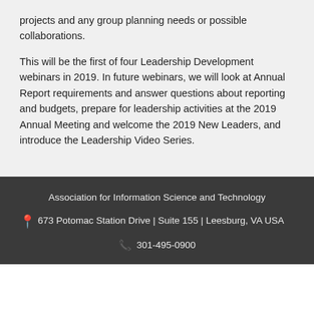projects and any group planning needs or possible collaborations.
This will be the first of four Leadership Development webinars in 2019. In future webinars, we will look at Annual Report requirements and answer questions about reporting and budgets, prepare for leadership activities at the 2019 Annual Meeting and welcome the 2019 New Leaders, and introduce the Leadership Video Series.
Association for Information Science and Technology
673 Potomac Station Drive | Suite 155 | Leesburg, VA USA
301-495-0900